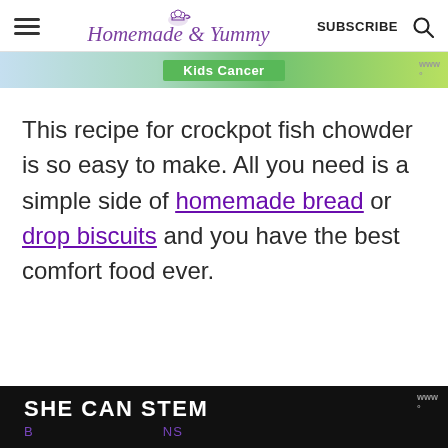Homemade & Yummy — SUBSCRIBE
[Figure (other): Advertisement banner with green background text 'Kids Cancer']
This recipe for crockpot fish chowder is so easy to make. All you need is a simple side of homemade bread or drop biscuits and you have the best comfort food ever.
[Figure (other): Advertisement banner with black background and white bold text 'SHE CAN STEM']